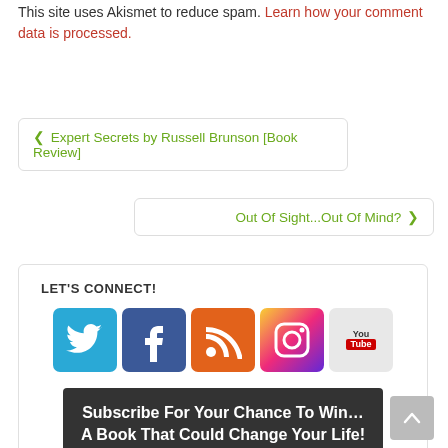This site uses Akismet to reduce spam. Learn how your comment data is processed.
< Expert Secrets by Russell Brunson [Book Review]
Out Of Sight...Out Of Mind? >
LET'S CONNECT!
[Figure (infographic): Five social media icon buttons: Twitter (blue), Facebook (dark blue), RSS (orange), Instagram (gradient), YouTube (light gray with You Tube text)]
Subscribe For Your Chance To Win…A Book That Could Change Your Life!